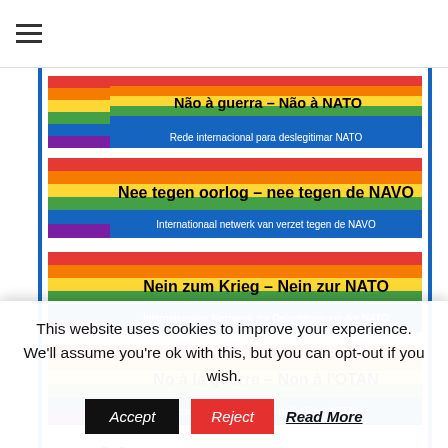☰ (hamburger menu)
[Figure (infographic): Rainbow pride flag banner: 'Não à guerra – Não à NATO / Rede internacional para deslegitimar NATO']
[Figure (infographic): Rainbow pride flag banner: 'Nee tegen oorlog – nee tegen de NAVO / Internationaal netwerk van verzet tegen de NAVO']
[Figure (infographic): Rainbow pride flag banner: 'Nein zum Krieg – Nein zur NATO / Internationales Netzwerk zur Delegitimierung der NATO']
[Figure (infographic): Rainbow pride flag banner: 'No à la guerre – Non à l'OTAN / Réseau international de délégitimer l'OTAN']
Archives
Select Month
This website uses cookies to improve your experience. We'll assume you're ok with this, but you can opt-out if you wish.
Accept   Reject   Read More